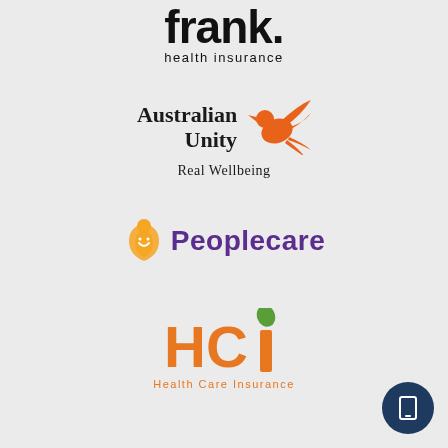[Figure (logo): Frank health insurance logo — bold black 'frank.' wordmark with 'health insurance' tagline below]
[Figure (logo): Australian Unity logo — serif bold 'Australian Unity' text with orange flying bird/kingfisher and 'Real Wellbeing' tagline]
[Figure (logo): Peoplecare logo — orange abstract person icon and purple bold 'Peoplecare' wordmark]
[Figure (logo): HCI Health Care Insurance logo — orange block 'HCI' letters with green leaf on the i, and 'Health Care Insurance' tagline below]